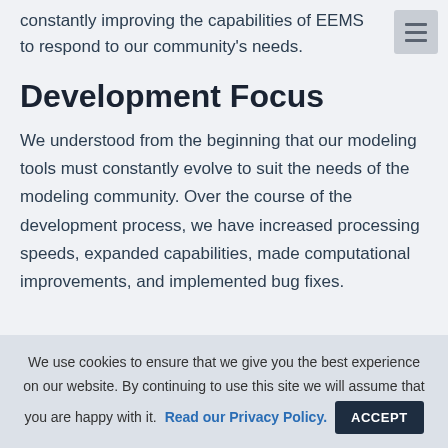constantly improving the capabilities of EEMS to respond to our community's needs.
Development Focus
We understood from the beginning that our modeling tools must constantly evolve to suit the needs of the modeling community. Over the course of the development process, we have increased processing speeds, expanded capabilities, made computational improvements, and implemented bug fixes.
We use cookies to ensure that we give you the best experience on our website. By continuing to use this site we will assume that you are happy with it. Read our Privacy Policy.